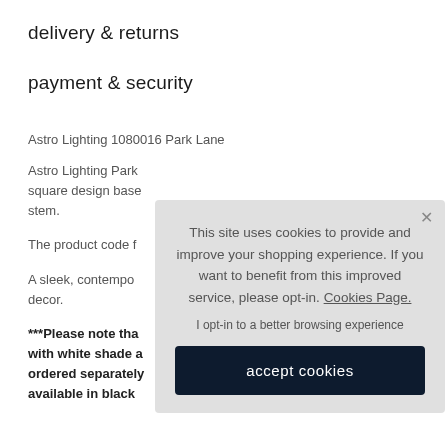delivery & returns
payment & security
Astro Lighting 1080016 Park Lane
Astro Lighting Park... square design base... stem.
The product code f...
A sleek, contemporary... decor.
***Please note tha... with white shade ... ordered separately... available in black
This site uses cookies to provide and improve your shopping experience. If you want to benefit from this improved service, please opt-in. Cookies Page.
I opt-in to a better browsing experience
accept cookies